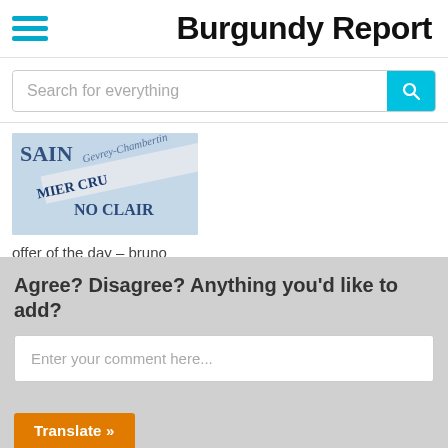Burgundy Report
[Figure (screenshot): Search bar with cyan search button and placeholder text 'Search for everything']
[Figure (photo): Wine label showing 'SAINT... PREMIER CRU... NO CLAIR' text on label]
offer of the day – bruno clair – 2020s
Agree? Disagree? Anything you'd like to add?
Enter your comment here...